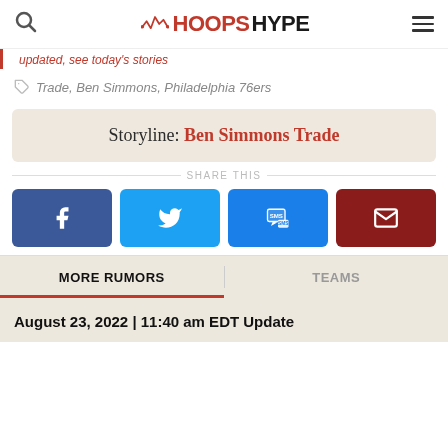HOOPSHYPE
updated, see today's stories
Trade, Ben Simmons, Philadelphia 76ers
Storyline: Ben Simmons Trade
SHARE THIS
[Figure (infographic): Social share buttons: Facebook, Twitter, SMS, Email]
MORE RUMORS | TEAMS
August 23, 2022 | 11:40 am EDT Update